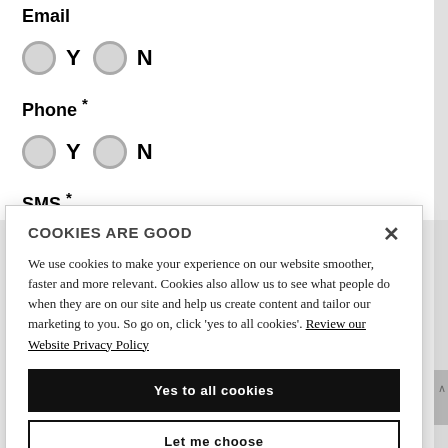Email
[Figure (other): Two radio buttons labeled Y and N for Email preference]
Phone *
[Figure (other): Two radio buttons labeled Y and N for Phone preference]
SMS *
COOKIES ARE GOOD
We use cookies to make your experience on our website smoother, faster and more relevant. Cookies also allow us to see what people do when they are on our site and help us create content and tailor our marketing to you. So go on, click 'yes to all cookies'. Review our Website Privacy Policy
Yes to all cookies
Let me choose